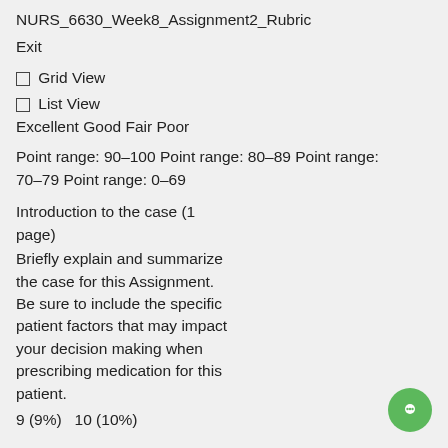NURS_6630_Week8_Assignment2_Rubric
Exit
Grid View
List View
Excellent Good Fair Poor
Point range: 90–100 Point range: 80–89 Point range: 70–79 Point range: 0–69
Introduction to the case (1 page)
Briefly explain and summarize the case for this Assignment. Be sure to include the specific patient factors that may impact your decision making when prescribing medication for this patient.
9 (9%)   10 (10%)